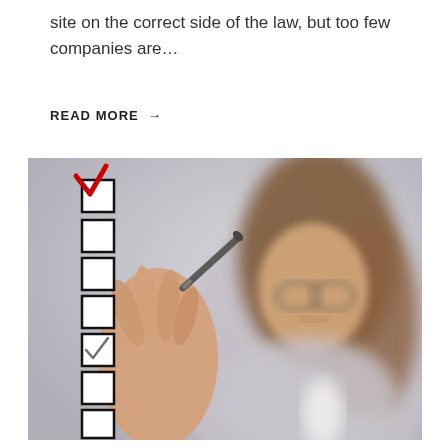site on the correct side of the law, but too few companies are...
READ MORE →
[Figure (photo): A smiling woman with glasses holding a pen next to a checklist with a red checkmark on the first box and several empty checkboxes below.]